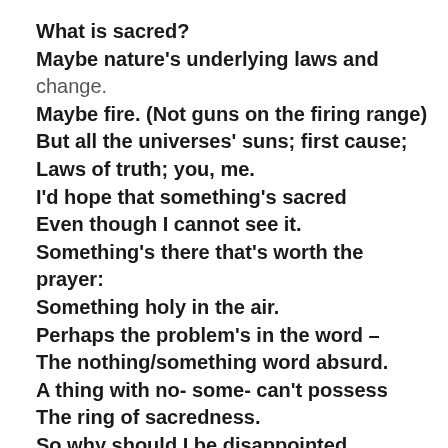What is sacred?
Maybe nature's underlying laws and change.
Maybe fire. (Not guns on the firing range)
But all the universes' suns; first cause;
Laws of truth; you, me.
I'd hope that something's sacred
Even though I cannot see it.
Something's there that's worth the prayer:
Something holy in the air.
Perhaps the problem's in the word –
The nothing/something word absurd.
A thing with no- some- can't possess
The ring of sacredness.
So why should I be disappointed,
Cynical or sad
When this world is an un-anointed